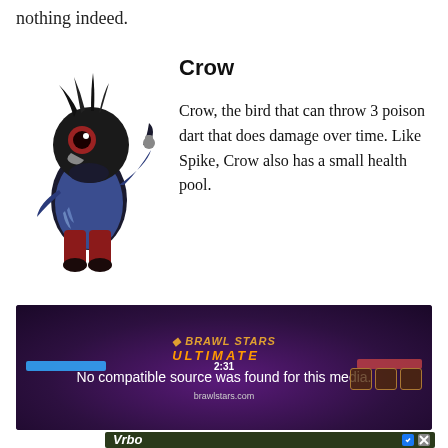nothing indeed.
Crow
[Figure (illustration): Cartoon character Crow from Brawl Stars — a dark bird wearing a blue coat and red pants, giving a thumbs up]
Crow, the bird that can throw 3 poison dart that does damage over time. Like Spike, Crow also has a small health pool.
[Figure (screenshot): Video game screenshot with dark purple background showing 'No compatible source was found for this media.' message and a game HUD with health bars and icons]
[Figure (photo): Vrbo advertisement showing a deck/outdoor setting with Book Now button and Deck checkbox option]